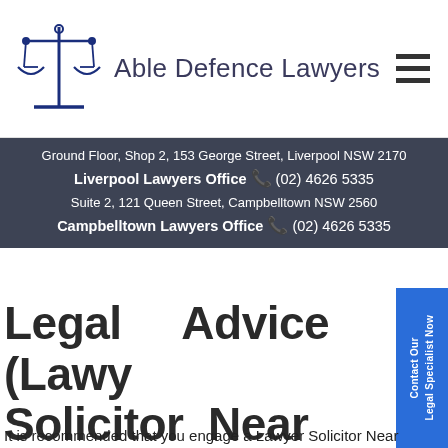Able Defence Lawyers
Ground Floor, Shop 2, 153 George Street, Liverpool NSW 2170
Liverpool Lawyers Office (02) 4626 5335
Suite 2, 121 Queen Street, Campbelltown NSW 2560
Campbelltown Lawyers Office (02) 4626 5335
Legal Advice (Lawyer Solicitor Near Narwee NSW 2209) That You Can Trust Sydney Canterbury-Bankstown
It is recommended that you engage a Lawyer Solicitor Near